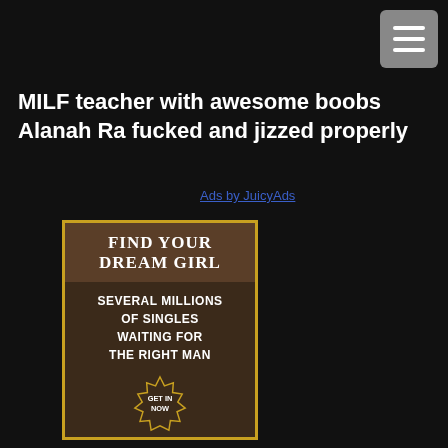[Figure (other): Hamburger menu button icon in top right corner, grey rounded square with three white horizontal lines]
MILF teacher with awesome boobs Alanah Ra fucked and jizzed properly
Ads by JuicyAds
[Figure (advertisement): Advertisement banner with dark brown background and gold border. Header reads 'FIND YOUR DREAM GIRL' in white serif text on darker brown. Body reads 'SEVERAL MILLIONS OF SINGLES WAITING FOR THE RIGHT MAN' in white bold text. Bottom shows a badge/seal with 'GET IN NOW' text.]